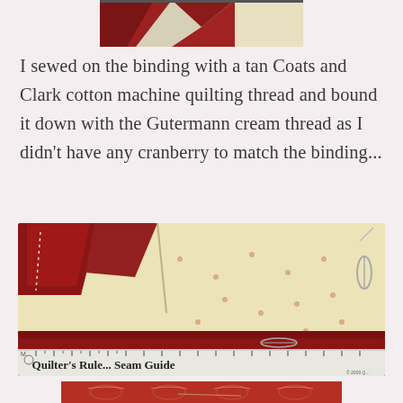[Figure (photo): Top partial photo of a quilt with red and cream/white diamond/triangle patchwork pattern, cropped at top of page]
I sewed on the binding with a tan Coats and Clark cotton machine quilting thread and bound it down with the Gutermann cream thread as I didn't have any cranberry to match the binding...
[Figure (photo): Close-up photo of quilt binding in progress showing red hexagon fabric patches on cream/floral fabric, with a needle and thread, safety pins, and a Quilter's Rule Seam Guide ruler visible at the bottom]
[Figure (photo): Bottom partial photo of red toile/patterned fabric, cropped at bottom of page]